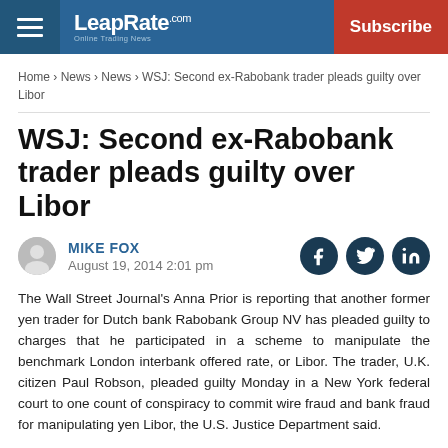LeapRate.com | Subscribe
Home › News › News › WSJ: Second ex-Rabobank trader pleads guilty over Libor
WSJ: Second ex-Rabobank trader pleads guilty over Libor
MIKE FOX
August 19, 2014 2:01 pm
The Wall Street Journal's Anna Prior is reporting that another former yen trader for Dutch bank Rabobank Group NV has pleaded guilty to charges that he participated in a scheme to manipulate the benchmark London interbank offered rate, or Libor. The trader, U.K. citizen Paul Robson, pleaded guilty Monday in a New York federal court to one count of conspiracy to commit wire fraud and bank fraud for manipulating yen Libor, the U.S. Justice Department said.
Mr. Robson was the second former Rabobank employee to plead guilty. In June, Takayuki Yagami plead guilty to one count of conspiracy to commit